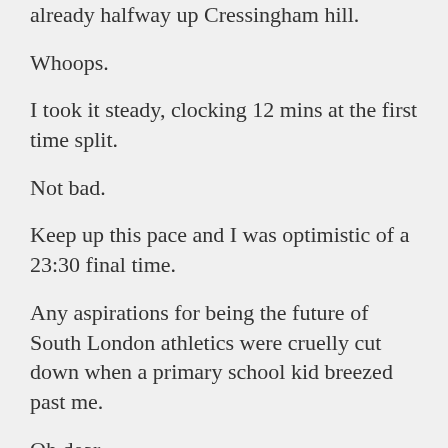already halfway up Cressingham hill.
Whoops.
I took it steady, clocking 12 mins at the first time split.
Not bad.
Keep up this pace and I was optimistic of a 23:30 final time.
Any aspirations for being the future of South London athletics were cruelly cut down when a primary school kid breezed past me.
Oh dear.
The final time of 23:16 was half-decent.